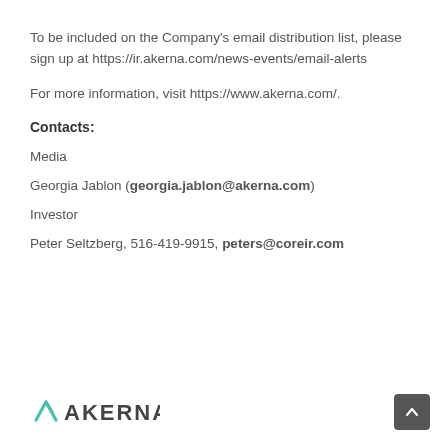To be included on the Company's email distribution list, please sign up at https://ir.akerna.com/news-events/email-alerts
For more information, visit https://www.akerna.com/.
Contacts:
Media
Georgia Jablon (georgia.jablon@akerna.com)
Investor
Peter Seltzberg, 516-419-9915, peters@coreir.com
[Figure (logo): Akerna company logo with teal chevron/arrow icon and AKERNA text in dark grey]